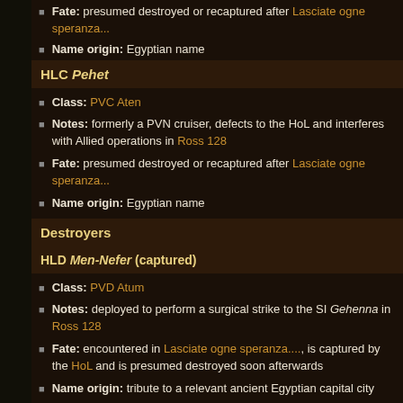Fate: presumed destroyed or recaptured after Lasciate ogne speranza...
Name origin: Egyptian name
HLC Pehet
Class: PVC Aten
Notes: formerly a PVN cruiser, defects to the HoL and interferes with Allied operations in Ross 128
Fate: presumed destroyed or recaptured after Lasciate ogne speranza...
Name origin: Egyptian name
Destroyers
HLD Men-Nefer (captured)
Class: PVD Atum
Notes: deployed to perform a surgical strike to the SI Gehenna in Ross 128
Fate: encountered in Lasciate ogne speranza..., is captured by the HoL and is presumed destroyed soon afterwards
Name origin: tribute to a relevant ancient Egyptian capital city